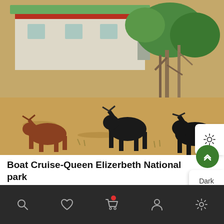[Figure (photo): Buffalo and cattle standing in a dry grassy field with trees and a building with red trim and green roof in the background. Three dark-colored animals visible, brown animal on left, two dark/black animals in center and right near trees.]
Boat Cruise-Queen Elizerbeth National park
FNR 30 USD
FR 30 USD
EAC 30,000 UGX